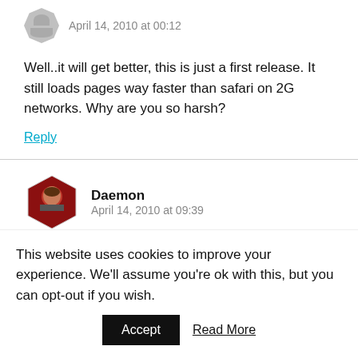April 14, 2010 at 00:12
Well..it will get better, this is just a first release. It still loads pages way faster than safari on 2G networks. Why are you so harsh?
Reply
Daemon
April 14, 2010 at 09:39
This website uses cookies to improve your experience. We'll assume you're ok with this, but you can opt-out if you wish.
Accept
Read More